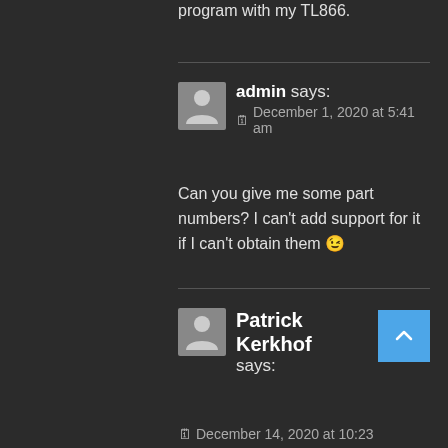program with my TL866.
admin says:
December 1, 2020 at 5:41 am
Can you give me some part numbers? I can't add support for it if I can't obtain them 😉
Patrick Kerkhof says:
December 14, 2020 at 10:23